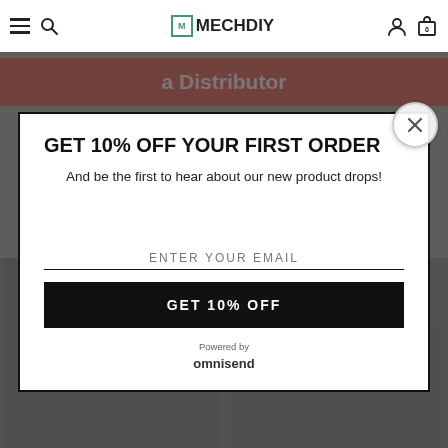MECHDIY
a Distributor
GET 10% OFF YOUR FIRST ORDER
And be the first to hear about our new product drops!
ENTER YOUR EMAIL
GET 10% OFF
Powered by omnisend